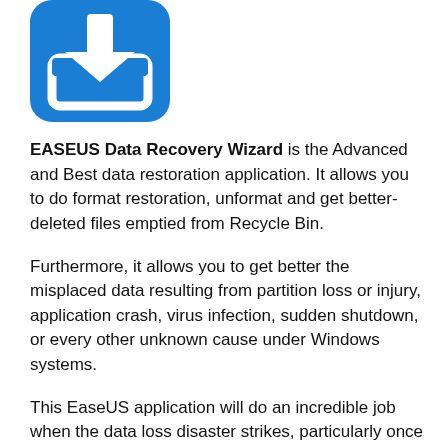[Figure (logo): EaseUS Data Recovery Wizard app icon — blue rounded square with a white downward arrow and a white document/tray symbol]
EASEUS Data Recovery Wizard is the Advanced and Best data restoration application. It allows you to do format restoration, unformat and get better-deleted files emptied from Recycle Bin.
Furthermore, it allows you to get better the misplaced data resulting from partition loss or injury, application crash, virus infection, sudden shutdown, or every other unknown cause under Windows systems.
This EaseUS application will do an incredible job when the data loss disaster strikes, particularly once you need to get better data from a formatted drive.
EASEUS Data Recovery Wizard supports hardware RAID and